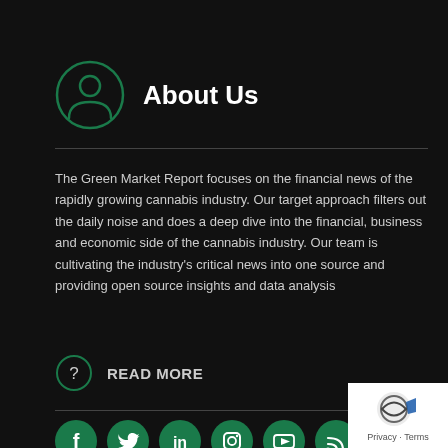About Us
The Green Market Report focuses on the financial news of the rapidly growing cannabis industry. Our target approach filters out the daily noise and does a deep dive into the financial, business and economic side of the cannabis industry. Our team is cultivating the industry’s critical news into one source and providing open source insights and data analysis
READ MORE
[Figure (infographic): Social media icons: Facebook, Twitter, LinkedIn, Instagram, YouTube, RSS feed — all circular green buttons]
[Figure (logo): Privacy badge with circular logo and text: Privacy - Terms]